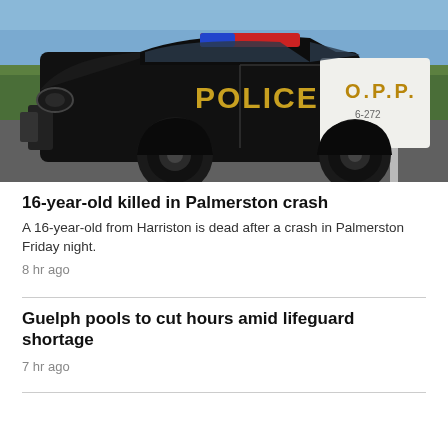[Figure (photo): Ontario Provincial Police (OPP) black and white Dodge Charger police cruiser parked on a highway, with 'POLICE' written in large gold letters on the door and 'O.P.P.' on the white rear quarter panel. Trees visible in background.]
16-year-old killed in Palmerston crash
A 16-year-old from Harriston is dead after a crash in Palmerston Friday night.
8 hr ago
Guelph pools to cut hours amid lifeguard shortage
7 hr ago